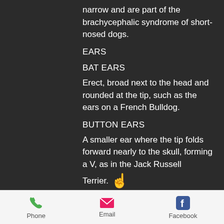narrow and are part of the brachycephalic syndrome of short-nosed dogs.
EARS
BAT EARS
Erect, broad next to the head and rounded at the tip, such as the ears on a French Bulldog.
BUTTON EARS
A smaller ear where the tip folds forward nearly to the skull, forming a V, as in the Jack Russell Terrier.
CROPPED EARS
Phone   Email   Facebook